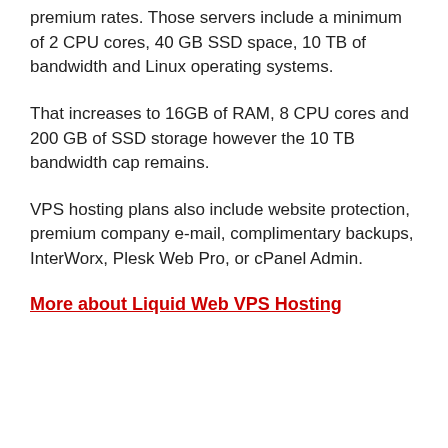premium rates. Those servers include a minimum of 2 CPU cores, 40 GB SSD space, 10 TB of bandwidth and Linux operating systems.
That increases to 16GB of RAM, 8 CPU cores and 200 GB of SSD storage however the 10 TB bandwidth cap remains.
VPS hosting plans also include website protection, premium company e-mail, complimentary backups, InterWorx, Plesk Web Pro, or cPanel Admin.
More about Liquid Web VPS Hosting